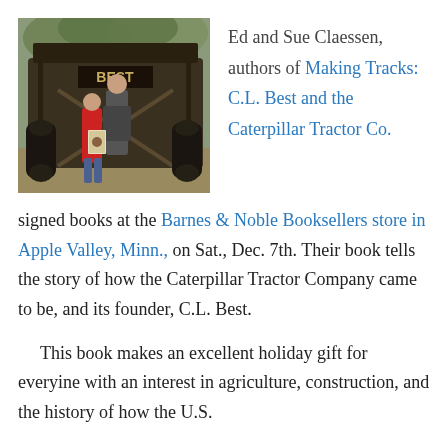[Figure (photo): Two people standing in front of a large vintage Caterpillar/Best tracked tractor outdoors among trees. One person wears a red jacket and holds a book.]
Ed and Sue Claessen, authors of Making Tracks: C.L. Best and the Caterpillar Tractor Co. signed books at the Barnes & Noble Booksellers store in Apple Valley, Minn., on Sat., Dec. 7th. Their book tells the story of how the Caterpillar Tractor Company came to be, and its founder, C.L. Best.
This book makes an excellent holiday gift for everyine with an interest in agriculture, construction, and the history of how the U.S.